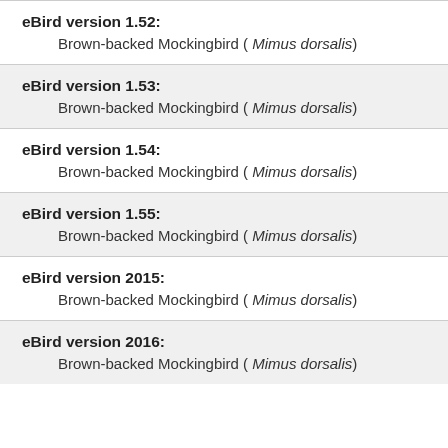eBird version 1.52:
 Brown-backed Mockingbird ( Mimus dorsalis)
eBird version 1.53:
 Brown-backed Mockingbird ( Mimus dorsalis)
eBird version 1.54:
 Brown-backed Mockingbird ( Mimus dorsalis)
eBird version 1.55:
 Brown-backed Mockingbird ( Mimus dorsalis)
eBird version 2015:
 Brown-backed Mockingbird ( Mimus dorsalis)
eBird version 2016:
 Brown-backed Mockingbird ( Mimus dorsalis)